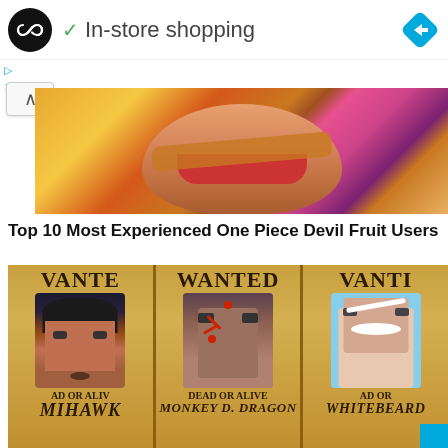[Figure (screenshot): Ad banner with circular black logo with infinity/loop icon, green checkmark, text 'In-store shopping', and blue diamond navigation icon on the right]
▷
×
[Figure (illustration): Anime character (One Piece) wearing a straw hat, mouth open, face close-up with yellow and purple background]
Top 10 Most Experienced One Piece Devil Fruit Users
[Figure (illustration): Three One Piece WANTED posters side by side: left shows Mihawk (VANTE/MIHAWK, DEAD OR ALIVE), center shows Monkey D. Dragon (WANTED, DEAD OR ALIVE), right shows Whitebeard (VANTI/WHITEBEARD, DEAD OR ALIVE)]